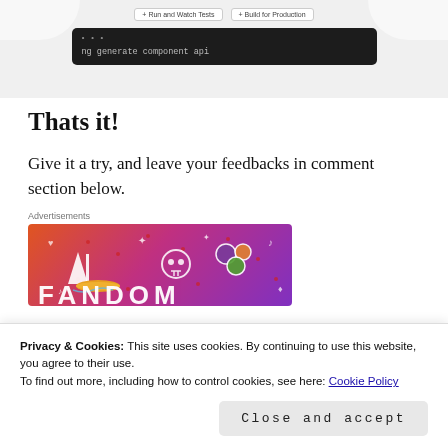[Figure (screenshot): Top portion of a web page screenshot showing buttons 'Run and Watch Tests' and 'Build for Production', and a terminal window with command: ng generate component api]
Thats it!
Give it a try, and leave your feedbacks in comment section below.
Advertisements
[Figure (illustration): Colorful advertisement banner with gradient from orange to purple, featuring a sailboat, skull, dice, flowers, and doodle icons with text 'FANDOM' at the bottom]
Privacy & Cookies: This site uses cookies. By continuing to use this website, you agree to their use.
To find out more, including how to control cookies, see here: Cookie Policy
Close and accept